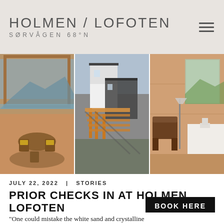HOLMEN / LOFOTEN SØRVÅGEN 68°N
[Figure (photo): Three interior and exterior photos of Holmen Lofoten: left shows dining area with wooden chairs and mountain/sea view; center shows black and white modernist cabin buildings on stilts; right shows a bedroom interior with wooden walls and chair.]
JULY 22, 2022  |  STORIES
PRIOR CHECKS IN AT HOLMEN LOFOTEN
BOOK HERE
"One could mistake the white sand and crystalline